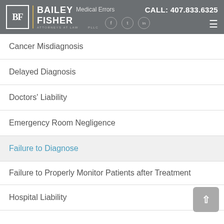Bailey Fisher PLLC Attorneys at Law | Medical Errors | CALL: 407.833.6325
Cancer Misdiagnosis
Delayed Diagnosis
Doctors' Liability
Emergency Room Negligence
Failure to Diagnose
Failure to Properly Monitor Patients after Treatment
Hospital Liability